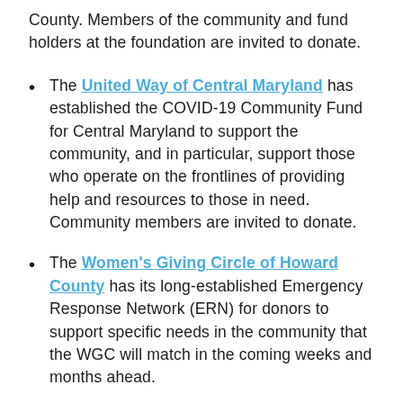County. Members of the community and fund holders at the foundation are invited to donate.
The United Way of Central Maryland has established the COVID-19 Community Fund for Central Maryland to support the community, and in particular, support those who operate on the frontlines of providing help and resources to those in need. Community members are invited to donate.
The Women's Giving Circle of Howard County has its long-established Emergency Response Network (ERN) for donors to support specific needs in the community that the WGC will match in the coming weeks and months ahead.